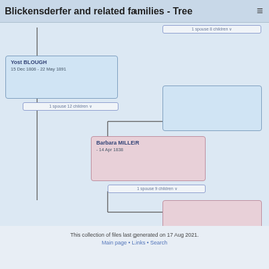Blickensderfer and related families - Tree
[Figure (organizational-chart): Genealogical family tree showing Yost BLOUGH (15 Dec 1806 - 22 May 1891) with '1 spouse 12 children' button, connected to an unnamed male ancestor box above and connected spouse Barbara MILLER (- 14 Apr 1838) with '1 spouse 9 children' button, plus unnamed female boxes for spouse and child, with connector lines between them.]
This collection of files last generated on 17 Aug 2021.
Main page • Links • Search